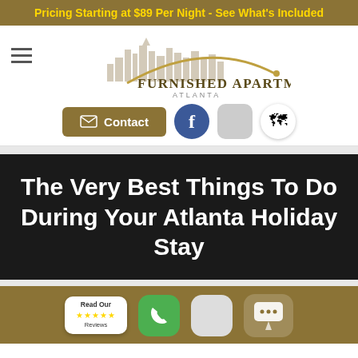Pricing Starting at $89 Per Night - See What's Included
[Figure (logo): Furnished Apartments Atlanta logo with city skyline silhouette and gold arc]
Contact
The Very Best Things To Do During Your Atlanta Holiday Stay
Read Our Reviews (5 stars)